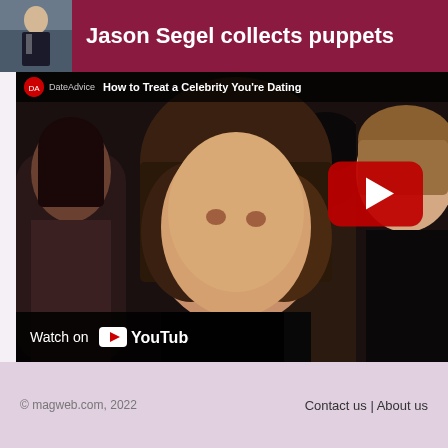Jason Segel collects puppets
[Figure (screenshot): YouTube video thumbnail showing 'How to Treat a Celebrity You're Dating' from DateAdvice channel, featuring a woman with brown hair in foreground and a man to the right, with a red YouTube play button overlay and 'Watch on YouTube' bar at bottom.]
© magweb.com, 2022   Contact us | About us